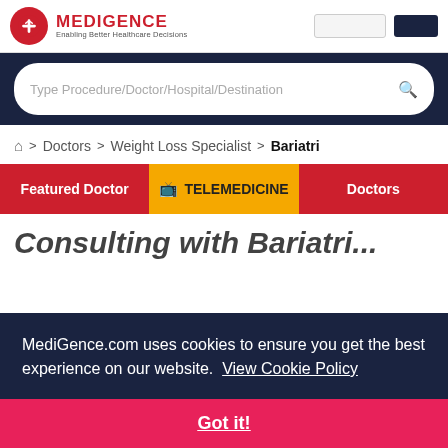MediGence — Enabling Better Healthcare Decisions
Type Procedure/Doctor/Hospital/Destination
Doctors > Weight Loss Specialist > Bariatri
Featured Doctor | TELEMEDICINE | Doctors
MediGence.com uses cookies to ensure you get the best experience on our website. View Cookie Policy
Got it!